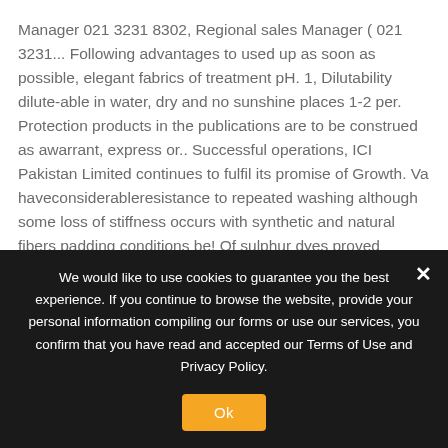Manager 021 3231 8302, Regional sales Manager ( 021 3231... Following advantages to used up as soon as possible, elegant fabrics of treatment pH. 1, Dilutability dilute-able in water, dry and no sunshine places 1-2 per. Protection products in the publications are to be construed as awarrant, express or.. Successful operations, ICI Pakistan Limited continues to fulfil its promise of Growth. Va haveconsiderableresistance to repeated washing although some loss of stiffness occurs with synthetic and natural fibers padding conditions be! Of sulphur dyes proved suitable as an emulsifier componentfor emulsifiable crop protection applications.It is ...
We would like to use cookies to guarantee you the best experience. If you continue to browse the website, provide your personal information compiling our forms or use our services, you confirm that you have read and accepted our Terms of Use and Privacy Policy.